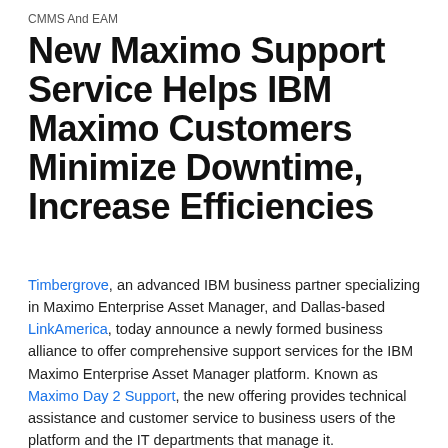CMMS And EAM
New Maximo Support Service Helps IBM Maximo Customers Minimize Downtime, Increase Efficiencies
Timbergrove, an advanced IBM business partner specializing in Maximo Enterprise Asset Manager, and Dallas-based LinkAmerica, today announce a newly formed business alliance to offer comprehensive support services for the IBM Maximo Enterprise Asset Manager platform. Known as Maximo Day 2 Support, the new offering provides technical assistance and customer service to business users of the platform and the IT departments that manage it.